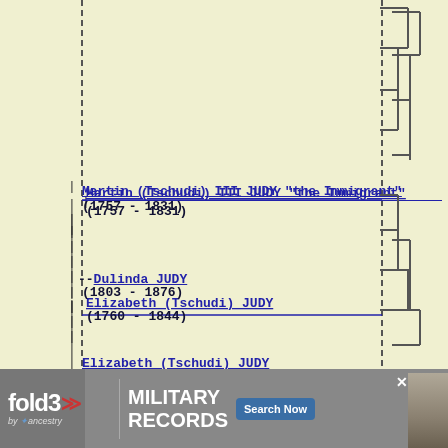[Figure (organizational-chart): Genealogy family tree chart showing Martin (Tschudi) III JUDY 'the Immigrant' (1757-1831), Dulinda JUDY (1803-1876), and Elizabeth (Tschudi) JUDY (1760-1844) with dashed connecting lines forming a pedigree chart layout]
[Figure (other): Fold3 Military Records advertisement banner with logo, MILITARY RECORDS text, Search Now button, and soldier photo]